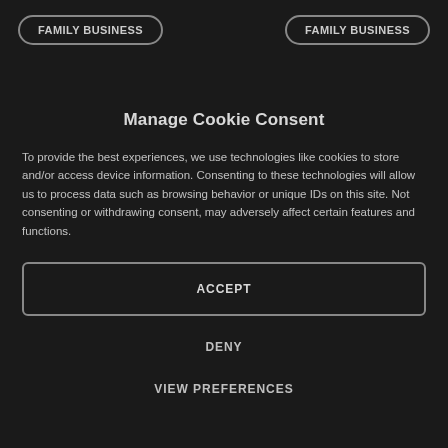FAMILY BUSINESS   FAMILY BUSINESS
Manage Cookie Consent
To provide the best experiences, we use technologies like cookies to store and/or access device information. Consenting to these technologies will allow us to process data such as browsing behavior or unique IDs on this site. Not consenting or withdrawing consent, may adversely affect certain features and functions.
ACCEPT
DENY
VIEW PREFERENCES